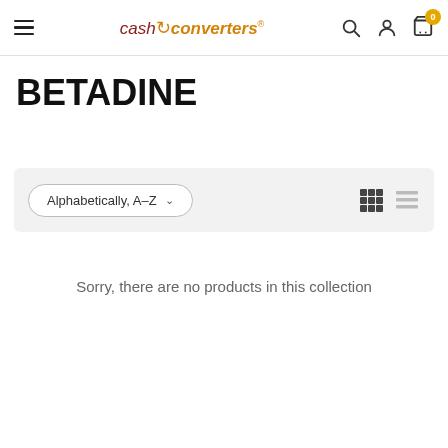Cash Converters — hamburger menu, logo, search, account, cart (0)
BETADINE
[Figure (screenshot): Sort dropdown showing 'Alphabetically, A-Z' with chevron, and grid/list view toggle icons]
Sorry, there are no products in this collection